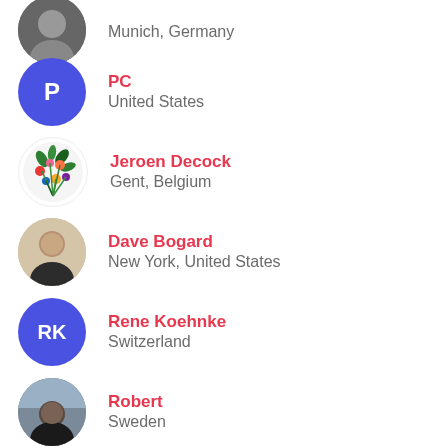Munich, Germany
PC
United States
Jeroen Decock
Gent, Belgium
Dave Bogard
New York, United States
Rene Koehnke
Switzerland
Robert
Sweden